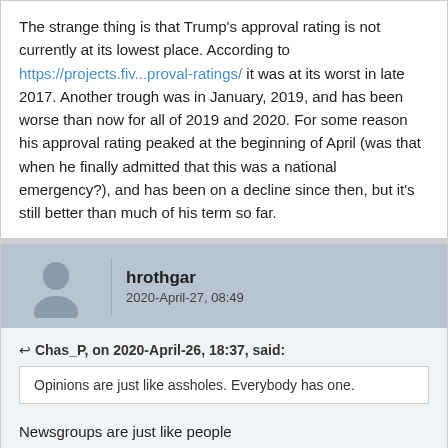The strange thing is that Trump's approval rating is not currently at its lowest place. According to https://projects.fiv...proval-ratings/ it was at its worst in late 2017. Another trough was in January, 2019, and has been worse than now for all of 2019 and 2020. For some reason his approval rating peaked at the beginning of April (was that when he finally admitted that this was a national emergency?), and has been on a decline since then, but it's still better than much of his term so far.
hrothgar
2020-April-27, 08:49
Chas_P, on 2020-April-26, 18:37, said:
Opinions are just like assholes. Everybody has one.
Newsgroups are just like people

Both are blessed with assholes
Ours is named Chas